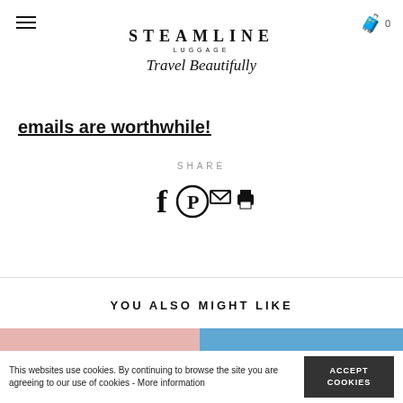STEAMLINE LUGGAGE — Travel Beautifully
emails are worthwhile!
SHARE
[Figure (other): Social share icons: Facebook, Pinterest, Email, Print]
YOU ALSO MIGHT LIKE
[Figure (photo): Pink background thumbnail image]
[Figure (photo): Blue background thumbnail image]
This websites use cookies. By continuing to browse the site you are agreeing to our use of cookies - More information